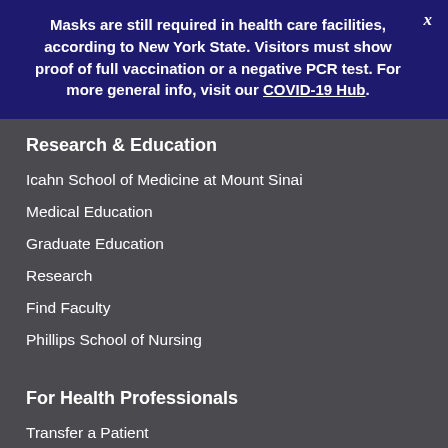Masks are still required in health care facilities, according to New York State. Visitors must show proof of full vaccination or a negative PCR test. For more general info, visit our COVID-19 Hub.
Research & Education
Icahn School of Medicine at Mount Sinai
Medical Education
Graduate Education
Research
Find Faculty
Phillips School of Nursing
For Health Professionals
Transfer a Patient
Mount Sinai Connect
Refer a Patient
g
Hospital Sponsored Programs